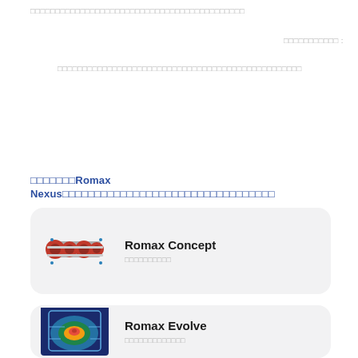□□□□□□□□□□□□□□□□□□□□□□□□□□□□□□□□□□□□□□□□
□□□□□□□□□□□:
□□□□□□□□□□□□□□□□□□□□□□□□□□□□□□□□□□□□□□□□□□□□□□□
□□□□□□□Romax Nexus□□□□□□□□□□□□□□□□□□□□□□□□□□□□□□□
[Figure (illustration): 3D rendered image of a mechanical drivetrain/gearbox assembly with red and silver components]
Romax Concept
□□□□□□□□□□
[Figure (illustration): Colorful FEA/thermal analysis visualization of a mechanical part showing heat map in blue, green, yellow, red]
Romax Evolve
□□□□□□□□□□□□□